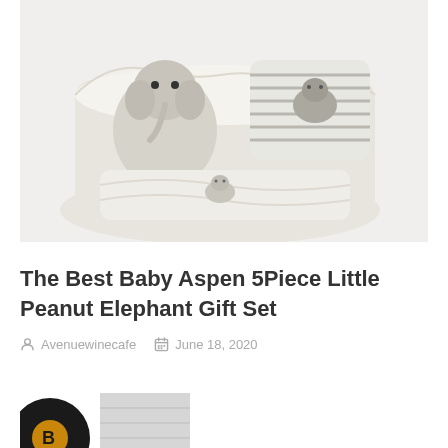[Figure (photo): Baby gift set with elephant plush toys, striped pillow with elephant embroidery, and soft blanket, arranged in a white basket/container]
The Best Baby Aspen 5Piece Little Peanut Elephant Gift Set
Avenuewinecafe  June 18, 2020
[Figure (photo): Partially visible black circle icon with gold/yellow inner circle, and a grey rectangular image partially visible at bottom of page]